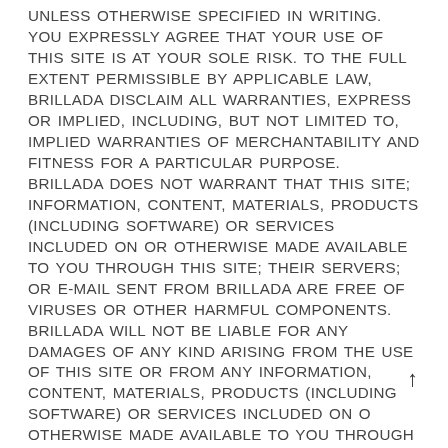UNLESS OTHERWISE SPECIFIED IN WRITING. YOU EXPRESSLY AGREE THAT YOUR USE OF THIS SITE IS AT YOUR SOLE RISK. TO THE FULL EXTENT PERMISSIBLE BY APPLICABLE LAW, BRILLADA DISCLAIM ALL WARRANTIES, EXPRESS OR IMPLIED, INCLUDING, BUT NOT LIMITED TO, IMPLIED WARRANTIES OF MERCHANTABILITY AND FITNESS FOR A PARTICULAR PURPOSE. BRILLADA DOES NOT WARRANT THAT THIS SITE; INFORMATION, CONTENT, MATERIALS, PRODUCTS (INCLUDING SOFTWARE) OR SERVICES INCLUDED ON OR OTHERWISE MADE AVAILABLE TO YOU THROUGH THIS SITE; THEIR SERVERS; OR E-MAIL SENT FROM BRILLADA ARE FREE OF VIRUSES OR OTHER HARMFUL COMPONENTS. BRILLADA WILL NOT BE LIABLE FOR ANY DAMAGES OF ANY KIND ARISING FROM THE USE OF THIS SITE OR FROM ANY INFORMATION, CONTENT, MATERIALS, PRODUCTS (INCLUDING SOFTWARE) OR SERVICES INCLUDED ON OR OTHERWISE MADE AVAILABLE TO YOU THROUGH THIS SITE, INCLUDING, BUT NOT LIMITED TO DIRECT, INDIRECT,